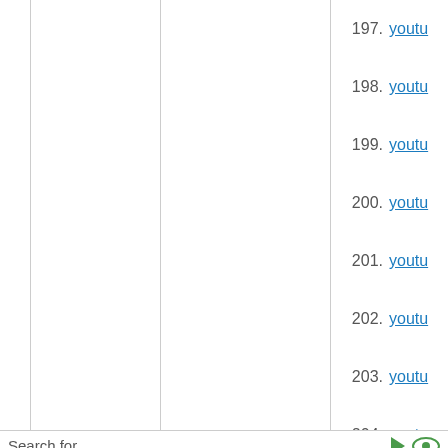197. youtu
198. youtu
199. youtu
200. youtu
201. youtu
202. youtu
203. youtu
204. youtu
205. youtu
206. youtu
207. youtu
208. miner
Search for
1.  Online Video Chat
212. youtu